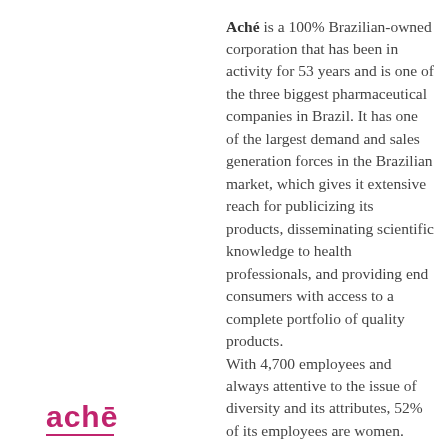Aché is a 100% Brazilian-owned corporation that has been in activity for 53 years and is one of the three biggest pharmaceutical companies in Brazil. It has one of the largest demand and sales generation forces in the Brazilian market, which gives it extensive reach for publicizing its products, disseminating scientific knowledge to health professionals, and providing end consumers with access to a complete portfolio of quality products. With 4,700 employees and always attentive to the issue of diversity and its attributes, 52% of its employees are women. More than 2,500 are dedicated to maintaining relationships with health professionals and points of sale, by way of in person and virtual visits. The Company has a broad and diversified portfolio, consisting of 358 brands, 871 SKUs and 145 therapeutic classes, in the prescription, generic, over-the-counter (OTC), dermocosmetics, dermatological drugs,
[Figure (logo): Aché company logo in pink/magenta with underline]